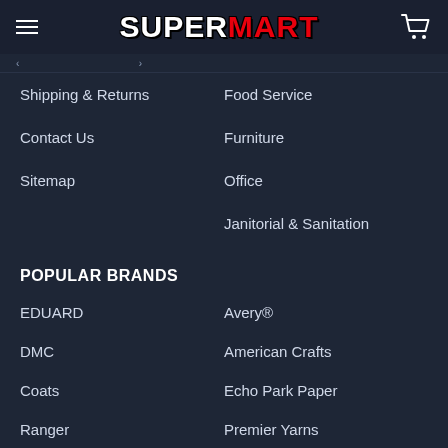SUPERMART
Shipping & Returns
Food Service
Contact Us
Furniture
Sitemap
Office
Janitorial & Sanitation
POPULAR BRANDS
EDUARD
Avery®
DMC
American Crafts
Coats
Echo Park Paper
Ranger
Premier Yarns
Deco Art
View All